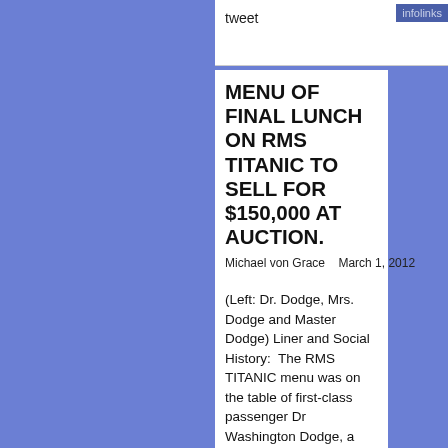tweet
infolinks
MENU OF FINAL LUNCH ON RMS TITANIC TO SELL FOR $150,000 AT AUCTION.
Michael von Grace    March 1, 2012
(Left: Dr. Dodge, Mrs. Dodge and Master Dodge) Liner and Social History:  The RMS TITANIC menu was on the table of first-class passenger Dr Washington Dodge, a prominent banker from San Francisco, who was traveling to America with his wife, Ruth, and son, Washington Junior. A menu, dated April 14 ... Read More »